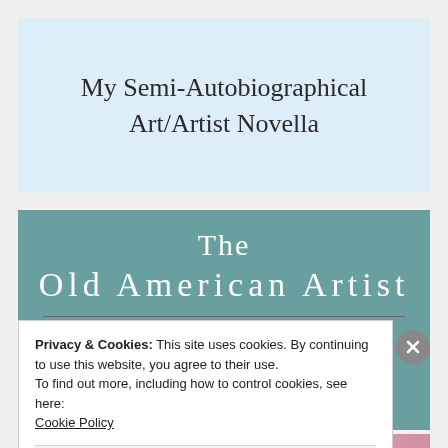My Semi-Autobiographical Art/Artist Novella
[Figure (illustration): Book cover for 'The Old American Artist' — teal/muted green background with large white serif title text and a painting of a landscape or figure below a horizontal divider line]
Privacy & Cookies: This site uses cookies. By continuing to use this website, you agree to their use.
To find out more, including how to control cookies, see here:
Cookie Policy
Close and accept